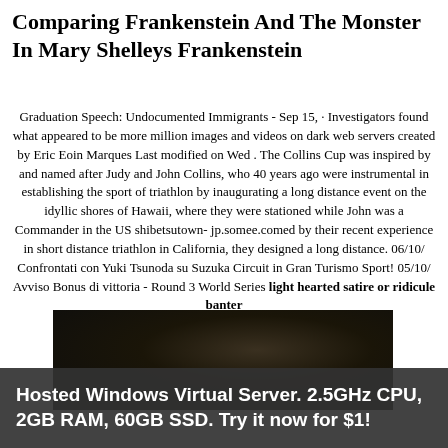Comparing Frankenstein And The Monster In Mary Shelleys Frankenstein
Graduation Speech: Undocumented Immigrants - Sep 15, · Investigators found what appeared to be more million images and videos on dark web servers created by Eric Eoin Marques Last modified on Wed . The Collins Cup was inspired by and named after Judy and John Collins, who 40 years ago were instrumental in establishing the sport of triathlon by inaugurating a long distance event on the idyllic shores of Hawaii, where they were stationed while John was a Commander in the US shibetsutown-jp.somee.comed by their recent experience in short distance triathlon in California, they designed a long distance. 06/10/ Confrontati con Yuki Tsunoda su Suzuka Circuit in Gran Turismo Sport! 05/10/ Avviso Bonus di vittoria - Round 3 World Series light hearted satire or ridicule banter
[Figure (photo): Dark, low-light photograph, mostly black and dark brown tones, indistinct scene]
Hosted Windows Virtual Server. 2.5GHz CPU, 2GB RAM, 60GB SSD. Try it now for $1!